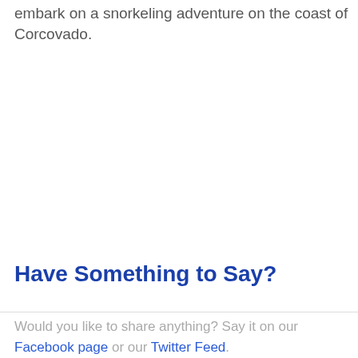embark on a snorkeling adventure on the coast of Corcovado.
Have Something to Say?
Would you like to share anything? Say it on our Facebook page or our Twitter Feed.